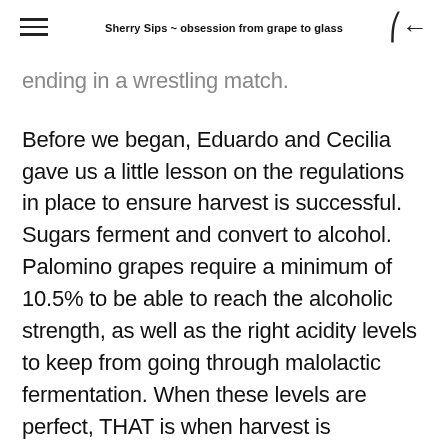Sherry Sips ~ obsession from grape to glass
ending in a wrestling match.
Before we began, Eduardo and Cecilia gave us a little lesson on the regulations in place to ensure harvest is successful. Sugars ferment and convert to alcohol. Palomino grapes require a minimum of 10.5% to be able to reach the alcoholic strength, as well as the right acidity levels to keep from going through malolactic fermentation. When these levels are perfect, THAT is when harvest is permitted. Every vineyard harvests at the same time.